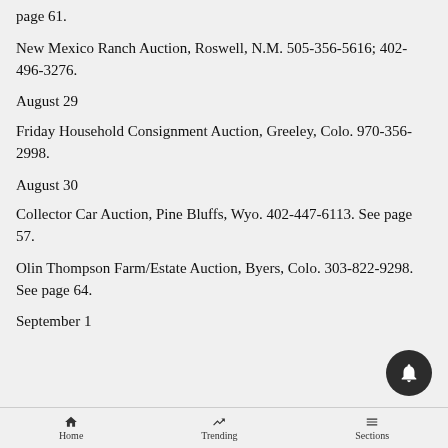page 61.
New Mexico Ranch Auction, Roswell, N.M. 505-356-5616; 402-496-3276.
August 29
Friday Household Consignment Auction, Greeley, Colo. 970-356-2998.
August 30
Collector Car Auction, Pine Bluffs, Wyo. 402-447-6113. See page 57.
Olin Thompson Farm/Estate Auction, Byers, Colo. 303-822-9298. See page 64.
September 1
Home   Trending   Sections